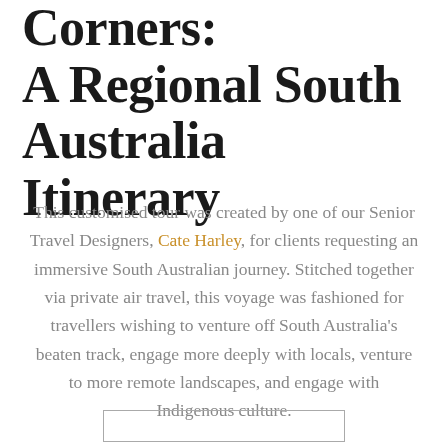Corners: A Regional South Australia Itinerary
This customised tour was created by one of our Senior Travel Designers, Cate Harley, for clients requesting an immersive South Australian journey. Stitched together via private air travel, this voyage was fashioned for travellers wishing to venture off South Australia's beaten track, engage more deeply with locals, venture to more remote landscapes, and engage with Indigenous culture.